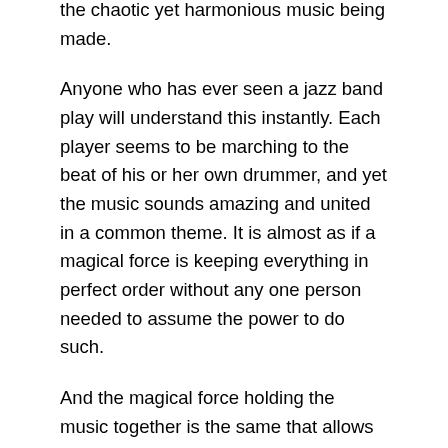the chaotic yet harmonious music being made.
Anyone who has ever seen a jazz band play will understand this instantly. Each player seems to be marching to the beat of his or her own drummer, and yet the music sounds amazing and united in a common theme. It is almost as if a magical force is keeping everything in perfect order without any one person needed to assume the power to do such.
And the magical force holding the music together is the same that allows the market to flourish when it is untouched by regulation. It is emergent order at its finest.
If each musician was being regulated by an authority telling them how fast they can play or which style they can play in, music would be boring. It's that simple. Every single performance